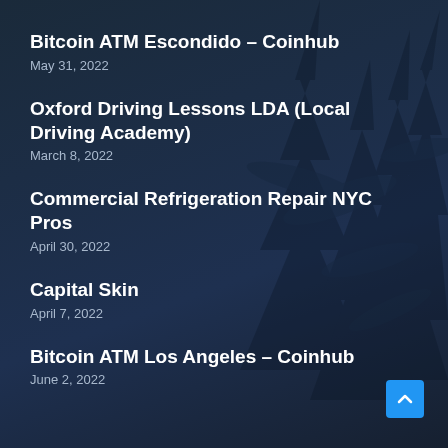Bitcoin ATM Escondido – Coinhub
May 31, 2022
Oxford Driving Lessons LDA (Local Driving Academy)
March 8, 2022
Commercial Refrigeration Repair NYC Pros
April 30, 2022
Capital Skin
April 7, 2022
Bitcoin ATM Los Angeles – Coinhub
June 2, 2022